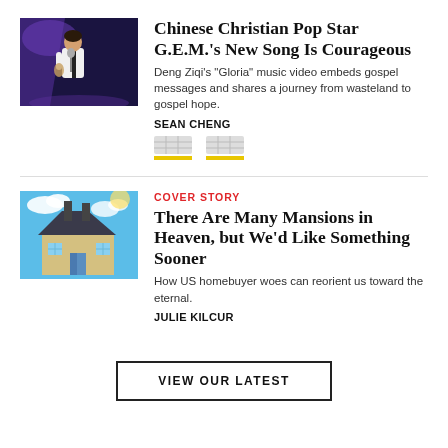[Figure (photo): Photo of Chinese pop star G.E.M. performing on stage with microphone, wearing white outfit, purple stage lighting]
Chinese Christian Pop Star G.E.M.'s New Song Is Courageous
Deng Ziqi's "Gloria" music video embeds gospel messages and shares a journey from wasteland to gospel hope.
SEAN CHENG
[Figure (other): Two social sharing icon buttons with yellow underlines]
[Figure (photo): Illustration of a house with blue sky background in a vintage style]
COVER STORY
There Are Many Mansions in Heaven, but We’d Like Something Sooner
How US homebuyer woes can reorient us toward the eternal.
JULIE KILCUR
VIEW OUR LATEST